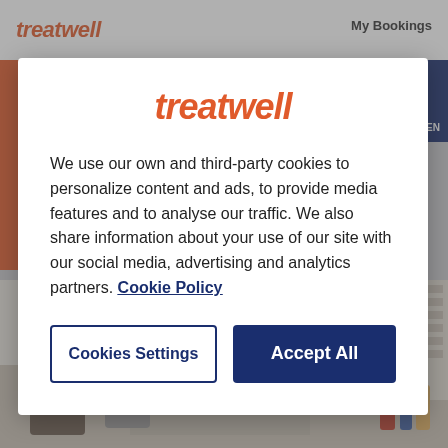[Figure (screenshot): Treatwell website background showing navigation bar with logo and salon interior photo, partially obscured by modal overlay]
treatwell
We use our own and third-party cookies to personalize content and ads, to provide media features and to analyse our traffic. We also share information about your use of our site with our social media, advertising and analytics partners. Cookie Policy